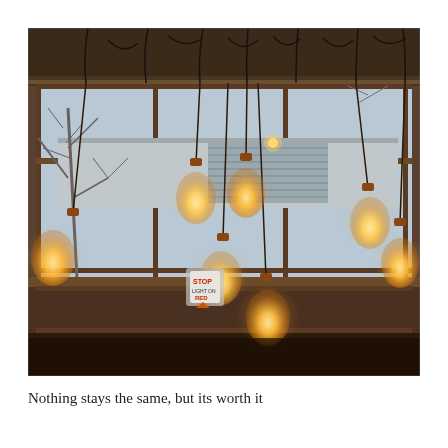[Figure (photo): Interior photograph of a cafe or restaurant showing multiple vintage Edison bulb pendant lights hanging from the ceiling in front of large windows. Outside the windows are bare trees, a building with metal grating, and a stop sign. The warm glowing bulbs contrast with the cool grey outdoor scene.]
Nothing stays the same, but its worth it